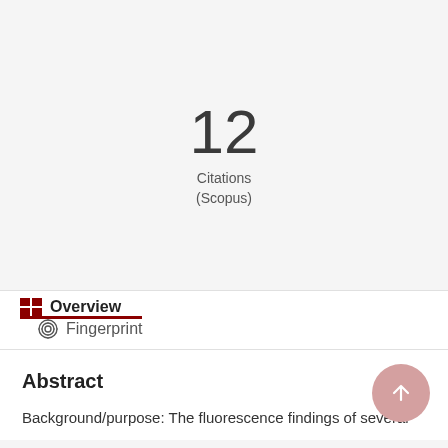12
Citations
(Scopus)
Overview   Fingerprint
Abstract
Background/purpose: The fluorescence findings of several